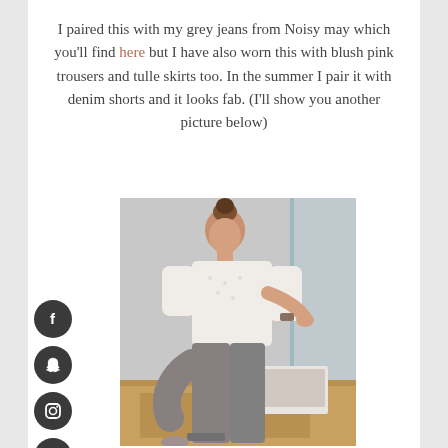I paired this with my grey jeans from Noisy may which you'll find here but I have also worn this with blush pink trousers and tulle skirts too. In the summer I pair it with denim shorts and it looks fab. (I'll show you another picture below)
[Figure (photo): A young woman with brown hair in a bun, wearing a white lace top and grey skinny jeans, sitting on a wooden surface next to a glass partition, looking down at a laptop/book in her lap.]